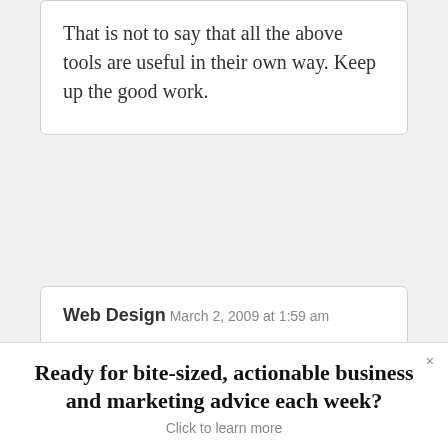That is not to say that all the above tools are useful in their own way. Keep up the good work.
Web Design
March 2, 2009 at 1:59 am

That's the such nice ideas and the great way to increase the earning.
Ready for bite-sized, actionable business and marketing advice each week? Click to learn more